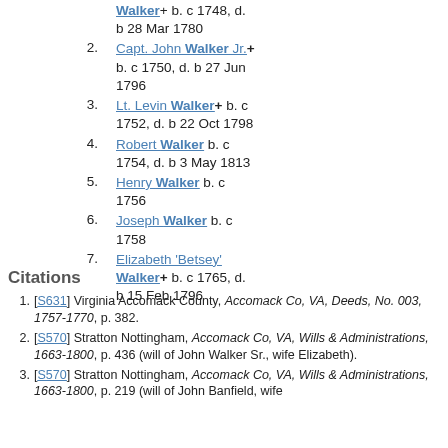Walker+ b. c 1748, d. b 28 Mar 1780
2. Capt. John Walker Jr.+ b. c 1750, d. b 27 Jun 1796
3. Lt. Levin Walker+ b. c 1752, d. b 22 Oct 1798
4. Robert Walker b. c 1754, d. b 3 May 1813
5. Henry Walker b. c 1756
6. Joseph Walker b. c 1758
7. Elizabeth 'Betsey' Walker+ b. c 1765, d. b 15 Feb 1796
Citations
1. [S631] Virginia Accomack County, Accomack Co, VA, Deeds, No. 003, 1757-1770, p. 382.
2. [S570] Stratton Nottingham, Accomack Co, VA, Wills & Administrations, 1663-1800, p. 436 (will of John Walker Sr., wife Elizabeth).
3. [S570] Stratton Nottingham, Accomack Co, VA, Wills & Administrations, 1663-1800, p. 219 (will of John Banfield, wife